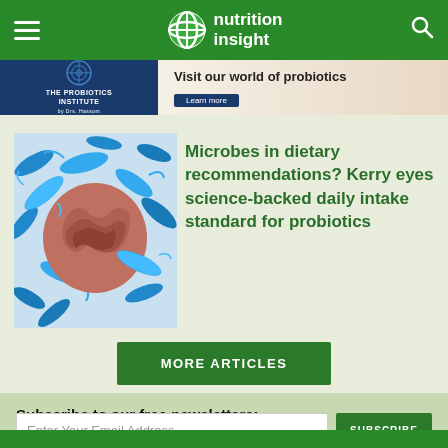nutrition insight
[Figure (illustration): Advertisement banner for The Probiotics Institute – Visit our world of probiotics]
[Figure (illustration): Microscopic illustration of gut microbiome bacteria – blue rod-shaped bacteria surrounding intestinal tissue]
Microbes in dietary recommendations? Kerry eyes science-backed daily intake standard for probiotics
MORE ARTICLES
Subscribe to our free newsletters:
Enter Your Email Address
SUBSCRIBE